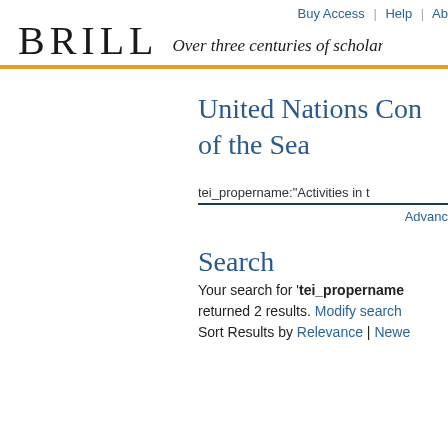Buy Access | Help | Ab
BRILL  Over three centuries of scholarly
United Nations Con... of the Sea
tei_propername:"Activities in t
Advanc
Search
Your search for 'tei_propername returned 2 results. Modify search Sort Results by Relevance | Newe